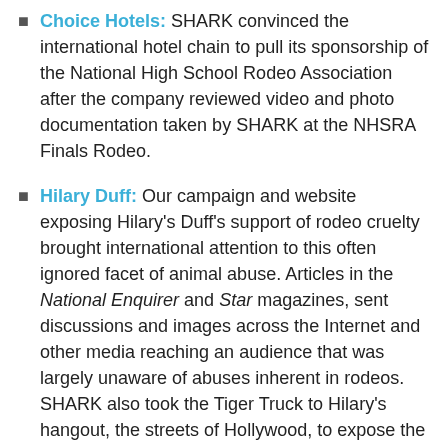Choice Hotels: SHARK convinced the international hotel chain to pull its sponsorship of the National High School Rodeo Association after the company reviewed video and photo documentation taken by SHARK at the NHSRA Finals Rodeo.
Hilary Duff: Our campaign and website exposing Hilary's Duff's support of rodeo cruelty brought international attention to this often ignored facet of animal abuse. Articles in the National Enquirer and Star magazines, sent discussions and images across the Internet and other media reaching an audience that was largely unaware of abuses inherent in rodeos. SHARK also took the Tiger Truck to Hilary's hangout, the streets of Hollywood, to expose the truth of rodeo cruelty.
Marriott Hotels: Successfully encouraged Marriott Hotels to withdraw support of the National Western Rodeo in Denver. Marriott...